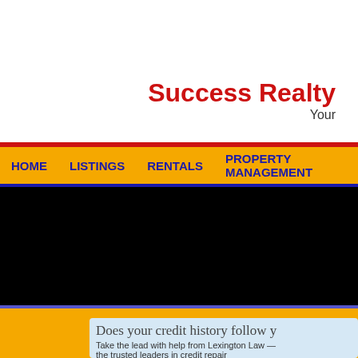[Figure (logo): Sunburst / starburst logo in yellow and blue rays, top-right corner, partially cropped]
Success Realty
Your
HOME
LISTINGS
RENTALS
PROPERTY MANAGEMENT
[Figure (photo): Black hero banner area (image content not visible)]
Does your credit history follow y
Take the lead with help from Lexington Law — the trusted leaders in credit repair